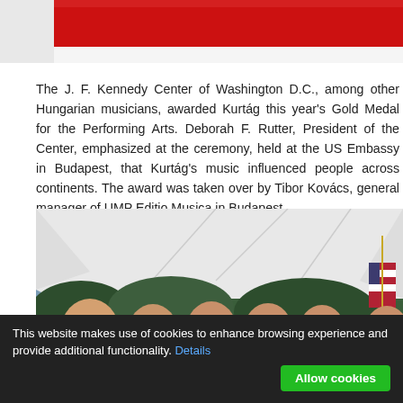[Figure (photo): Red and white flag background image at the top of the page]
The J. F. Kennedy Center of Washington D.C., among other Hungarian musicians, awarded Kurtág this year's Gold Medal for the Performing Arts. Deborah F. Rutter, President of the Center, emphasized at the ceremony, held at the US Embassy in Budapest, that Kurtág's music influenced people across continents. The award was taken over by Tibor Kovács, general manager of UMP Editio Musica in Budapest.
[Figure (photo): Group photo of six people (four men and two women) standing together outdoors under a white tent canopy, with an American flag visible on the right side. Taken at a ceremony at the US Embassy in Budapest.]
This website makes use of cookies to enhance browsing experience and provide additional functionality. Details